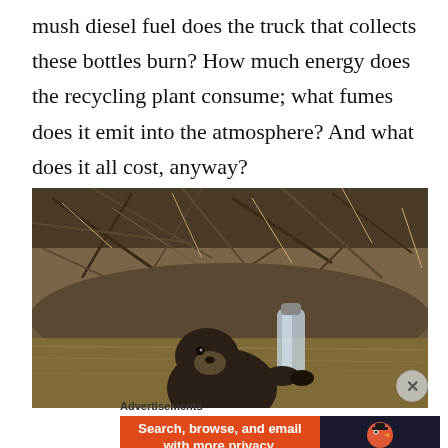mush diesel fuel does the truck that collects these bottles burn? How much energy does the recycling plant consume; what fumes does it emit into the atmosphere? And what does it all cost, anyway?
[Figure (photo): An otter holding a plastic bottle in a muddy river, with tangled branches and roots in the background]
Advertisements
[Figure (infographic): DuckDuckGo advertisement banner: left side orange background with text 'Search, browse, and email with more privacy. All in One Free App', right side dark background with DuckDuckGo duck logo and brand name]